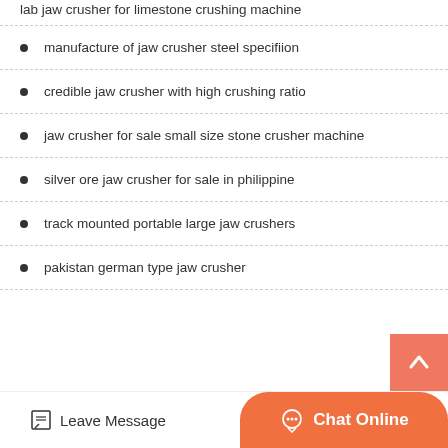lab jaw crusher for limestone crushing machine
manufacture of jaw crusher steel specifiion
credible jaw crusher with high crushing ratio
jaw crusher for sale small size stone crusher machine
silver ore jaw crusher for sale in philippine
track mounted portable large jaw crushers
pakistan german type jaw crusher
Leave Message  Chat Online